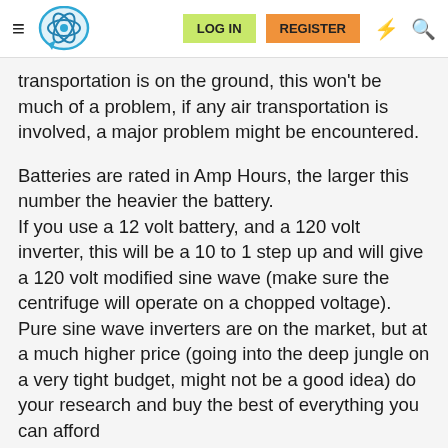LOG IN | REGISTER
transportation is on the ground, this won't be much of a problem, if any air transportation is involved, a major problem might be encountered.
Batteries are rated in Amp Hours, the larger this number the heavier the battery. If you use a 12 volt battery, and a 120 volt inverter, this will be a 10 to 1 step up and will give a 120 volt modified sine wave (make sure the centrifuge will operate on a chopped voltage). Pure sine wave inverters are on the market, but at a much higher price (going into the deep jungle on a very tight budget, might not be a good idea) do your research and buy the best of everything you can afford